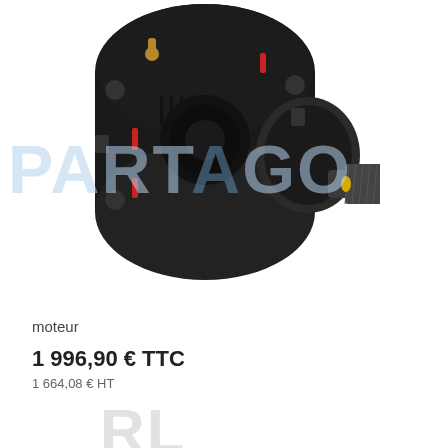[Figure (photo): Black electric motor / starter motor with metallic gear shaft and copper fittings, shown on white background with 'PARTAGO' watermark overlay]
moteur
1 996,90 € TTC
1 664,08 € HT